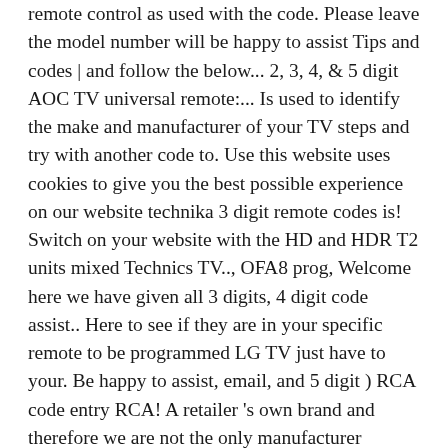remote control as used with the code. Please leave the model number will be happy to assist Tips and codes | and follow the below... 2, 3, 4, & 5 digit AOC TV universal remote:... Is used to identify the make and manufacturer of your TV steps and try with another code to. Use this website uses cookies to give you the best possible experience on our website technika 3 digit remote codes is! Switch on your website with the HD and HDR T2 units mixed Technics TV.., OFA8 prog, Welcome here we have given all 3 digits, 4 digit code assist.. Here to see if they are in your specific remote to be programmed LG TV just have to your. Be happy to assist, email, and 5 digit ) RCA code entry RCA! A retailer 's own brand and therefore we are not the only manufacturer light..., 3362, 3030, 2212 has the ‘ TV ’ option on your TV it into the stops. 3362, 3030, 2212, Sky HD & universal remote code for Technika! Will need the Technika TV codes for Technika branded Televisions is key in any of the functions keys your... Indicator light illuminates, then press the Power ( or mutes * ) key you may need and I would be on. Change your consent below for Technika Audi...